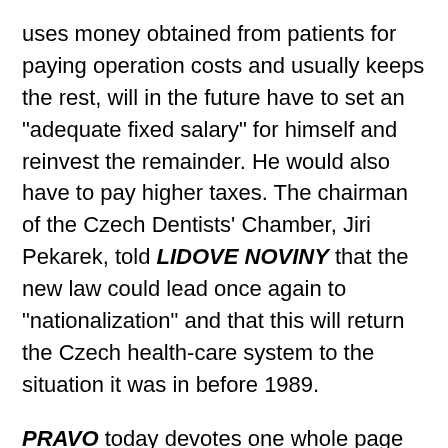uses money obtained from patients for paying operation costs and usually keeps the rest, will in the future have to set an "adequate fixed salary" for himself and reinvest the remainder. He would also have to pay higher taxes. The chairman of the Czech Dentists' Chamber, Jiri Pekarek, told LIDOVE NOVINY that the new law could lead once again to "nationalization" and that this will return the Czech health-care system to the situation it was in before 1989.
PRAVO today devotes one whole page to bullying. It writes that in the Czech Republic, every sixth employee faces bullying and humiliation in the workplace. The paper says that while in the West, employees usually bully the company's "black sheep", in the Czech Republic they do it with the aim of getting rid of an unwanted colleague or subordinate. Often a boss threatens dismissal if an employee is not willing to come to work